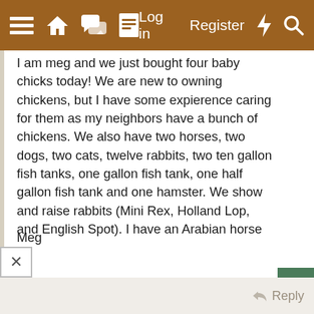≡  🏠  💬  📄  Log in  Register  ⚡  🔍
I am meg and we just bought four baby chicks today! We are new to owning chickens, but I have some expierence caring for them as my neighbors have a bunch of chickens. We also have two horses, two dogs, two cats, twelve rabbits, two ten gallon fish tanks, one gallon fish tank, one half gallon fish tank and one hamster. We show and raise rabbits (Mini Rex, Holland Lop, and English Spot). I have an Arabian horse and a Quarter Horse mare.

The baby chicks we got, two are Isa Chickens and I forgot what they said the other two were, 🙂 , so I'll have to call tomorrow and find out, I can't for the life of me remember the name, time to hit Google! LOL Anyways, my chicken's name is 'Chica', hence the username. 🙂

Look forward to being a regular member!
Meg